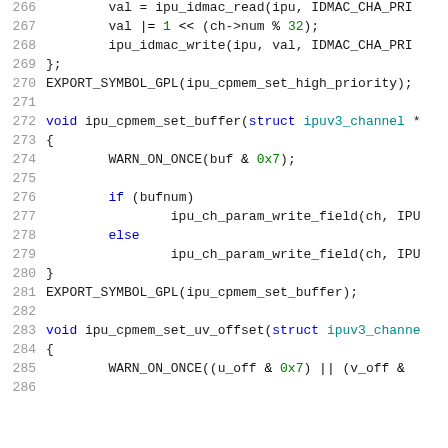Source code listing, lines 266-286, C language kernel code for IPU memory channel buffer functions
266: val = ipu_idmac_read(ipu, IDMAC_CHA_PRI
267: val |= 1 << (ch->num % 32);
268: ipu_idmac_write(ipu, val, IDMAC_CHA_PRI
269: };
270: EXPORT_SYMBOL_GPL(ipu_cpmem_set_high_priority);
271: (blank)
272: void ipu_cpmem_set_buffer(struct ipuv3_channel *
273: {
274: WARN_ON_ONCE(buf & 0x7);
275: (blank)
276: if (bufnum)
277: ipu_ch_param_write_field(ch, IPU
278: else
279: ipu_ch_param_write_field(ch, IPU
280: }
281: EXPORT_SYMBOL_GPL(ipu_cpmem_set_buffer);
282: (blank)
283: void ipu_cpmem_set_uv_offset(struct ipuv3_channe
284: {
285: WARN_ON_ONCE((u_off & 0x7) || (v_off &
286: (blank)